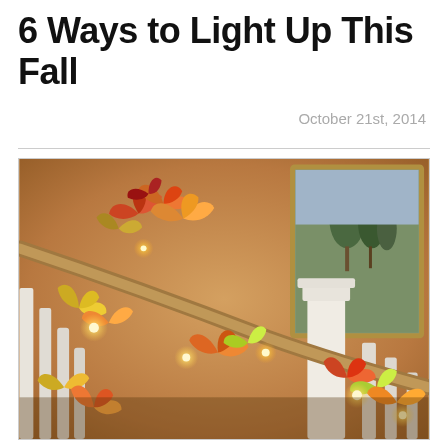6 Ways to Light Up This Fall
October 21st, 2014
[Figure (photo): A staircase banister decorated with an illuminated fall leaf garland featuring orange, red, yellow and green artificial maple leaves with warm glowing lights interspersed. A framed landscape painting is visible in the background. White stair balusters are visible on the left.]